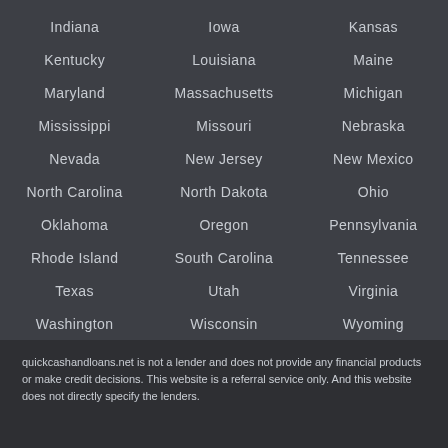Indiana
Iowa
Kansas
Kentucky
Louisiana
Maine
Maryland
Massachusetts
Michigan
Mississippi
Missouri
Nebraska
Nevada
New Jersey
New Mexico
North Carolina
North Dakota
Ohio
Oklahoma
Oregon
Pennsylvania
Rhode Island
South Carolina
Tennessee
Texas
Utah
Virginia
Washington
Wisconsin
Wyoming
quickcashandloans.net is not a lender and does not provide any financial products or make credit decisions. This website is a referral service only. And this website does not directly specify the lenders.